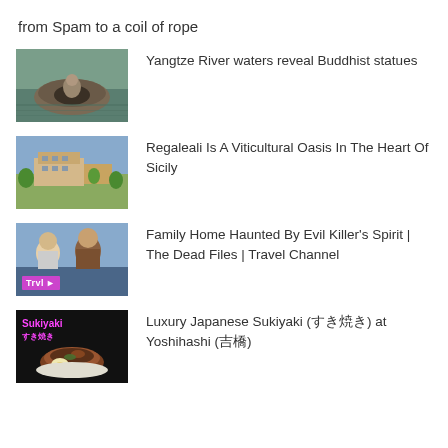from Spam to a coil of rope
[Figure (photo): Thumbnail of Yangtze River with exposed Buddhist statues carved in rock]
Yangtze River waters reveal Buddhist statues
[Figure (photo): Thumbnail of Regaleali winery estate in Sicily with vineyards and buildings]
Regaleali Is A Viticultural Oasis In The Heart Of Sicily
[Figure (photo): Thumbnail of two people for The Dead Files Travel Channel show with Trvl logo badge]
Family Home Haunted By Evil Killer's Spirit | The Dead Files | Travel Channel
[Figure (photo): Thumbnail of Japanese Sukiyaki dish with Sukiyaki text label]
Luxury Japanese Sukiyaki (すき焼き) at Yoshihashi (吉橋)